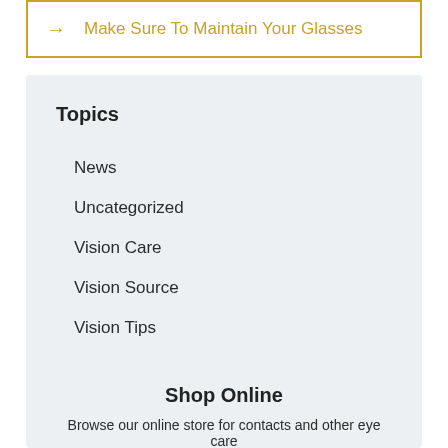→ Make Sure To Maintain Your Glasses
Topics
News
Uncategorized
Vision Care
Vision Source
Vision Tips
Shop Online
Browse our online store for contacts and other eye care